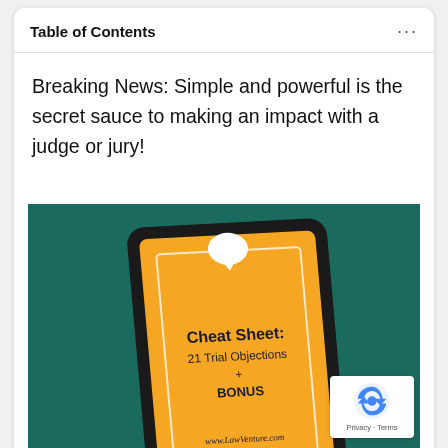Table of Contents
Breaking News: Simple and powerful is the secret sauce to making an impact with a judge or jury!
[Figure (illustration): A tablet device displayed at an angle on a dark teal background, showing an orange screen with white border frame, speech bubble icon at top, and text reading 'Cheat Sheet: 21 Trial Objections + BONUS' with www.LawVenture.com at the bottom. A reCAPTCHA badge appears in the bottom-right corner.]